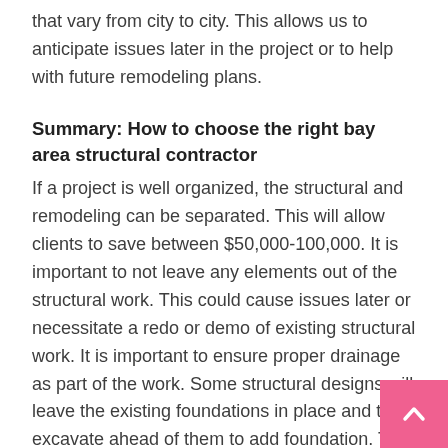that vary from city to city. This allows us to anticipate issues later in the project or to help with future remodeling plans.
Summary: How to choose the right bay area structural contractor
If a project is well organized, the structural and remodeling can be separated. This will allow clients to save between $50,000-100,000. It is important to not leave any elements out of the structural work. This could cause issues later or necessitate a redo or demo of existing structural work. It is important to ensure proper drainage as part of the work. Some structural designs will leave the existing foundations in place and the excavate ahead of them to add foundation. This